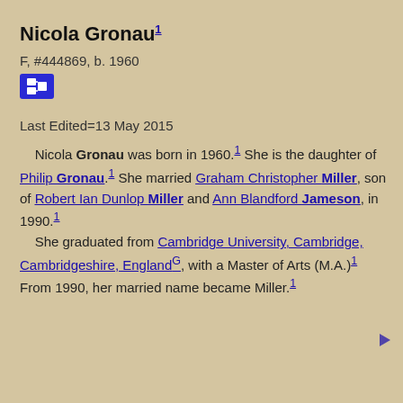Nicola Gronau1
F, #444869, b. 1960
Last Edited=13 May 2015
Nicola Gronau was born in 1960.1 She is the daughter of Philip Gronau.1 She married Graham Christopher Miller, son of Robert Ian Dunlop Miller and Ann Blandford Jameson, in 1990.1 She graduated from Cambridge University, Cambridge, Cambridgeshire, EnglandG, with a Master of Arts (M.A.)1 From 1990, her married name became Miller.1